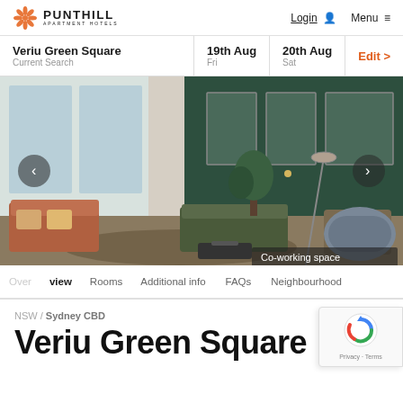PUNTHILL APARTMENT HOTELS | Login | Menu
Veriu Green Square | Current Search | 19th Aug Fri | 20th Aug Sat | Edit >
[Figure (photo): Interior photo of a hotel co-working/lounge space with green walls, modern sofas, plants, floor lamps, and framed mirrors. Label reads 'Co-working space'.]
Overview
Rooms
Additional info
FAQs
Neighbourhood
NSW / Sydney CBD
Veriu Green Square